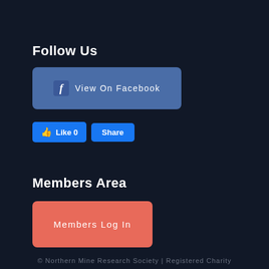Follow Us
[Figure (screenshot): Facebook 'View On Facebook' button — a rounded rectangle with dark blue background, Facebook 'f' icon on the left, and text 'View On Facebook' in white spaced lettering]
[Figure (screenshot): Facebook Like and Share buttons — blue rounded buttons side by side, thumbs-up icon with 'Like 0' and 'Share']
Members Area
[Figure (screenshot): Members Log In button — coral/red-orange rounded rectangle button with white spaced text 'Members Log In']
© Northern Mine Research Society | Registered Charity